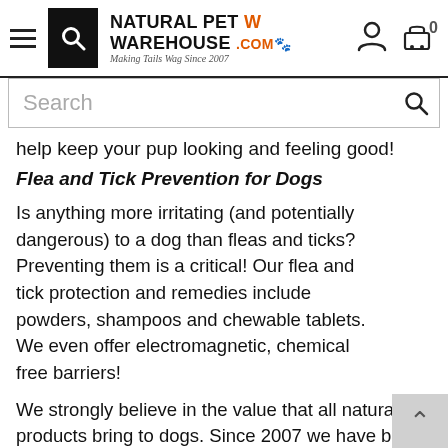Natural Pet Warehouse .com — Making Tails Wag Since 2007
Search
help keep your pup looking and feeling good!
Flea and Tick Prevention for Dogs
Is anything more irritating (and potentially dangerous) to a dog than fleas and ticks? Preventing them is a critical! Our flea and tick protection and remedies include powders, shampoos and chewable tablets. We even offer electromagnetic, chemical free barriers!
We strongly believe in the value that all natural products bring to dogs. Since 2007 we have been